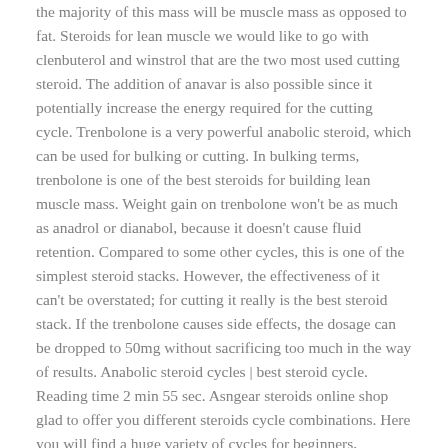the majority of this mass will be muscle mass as opposed to fat. Steroids for lean muscle we would like to go with clenbuterol and winstrol that are the two most used cutting steroid. The addition of anavar is also possible since it potentially increase the energy required for the cutting cycle. Trenbolone is a very powerful anabolic steroid, which can be used for bulking or cutting. In bulking terms, trenbolone is one of the best steroids for building lean muscle mass. Weight gain on trenbolone won't be as much as anadrol or dianabol, because it doesn't cause fluid retention. Compared to some other cycles, this is one of the simplest steroid stacks. However, the effectiveness of it can't be overstated; for cutting it really is the best steroid stack. If the trenbolone causes side effects, the dosage can be dropped to 50mg without sacrificing too much in the way of results. Anabolic steroid cycles | best steroid cycle. Reading time 2 min 55 sec. Asngear steroids online shop glad to offer you different steroids cycle combinations. Here you will find a huge variety of cycles for beginners, amateurs and even for professional athletes. We have given only the most common pharmacology sport courses. While the best cutting cycles are important, the most appropriate ways to use any steroid cycle, anabolic stack...